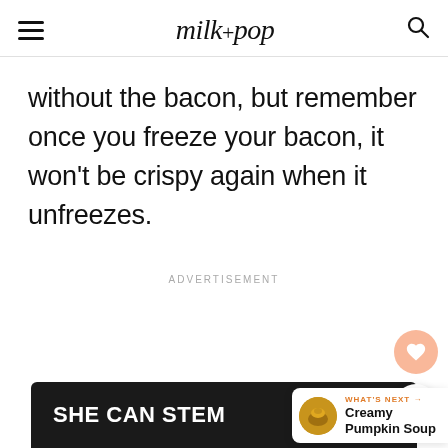milk + pop
without the bacon, but remember once you freeze your bacon, it won't be crispy again when it unfreezes.
ADVERTISEMENT
WHAT'S NEXT → Creamy Pumpkin Soup
SHE CAN STEM